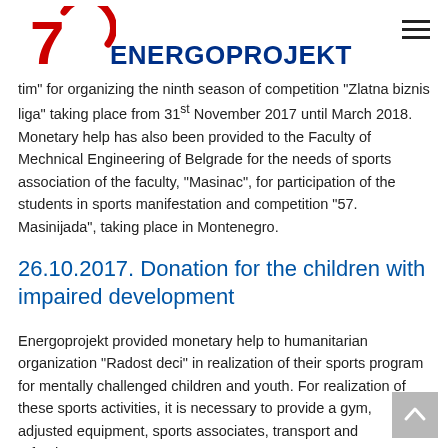ENERGOPROJEKT (70th anniversary logo)
tim" for organizing the ninth season of competition "Zlatna biznis liga" taking place from 31st November 2017 until March 2018. Monetary help has also been provided to the Faculty of Mechnical Engineering of Belgrade for the needs of sports association of the faculty, "Masinac", for participation of the students in sports manifestation and competition "57. Masinijada", taking place in Montenegro.
26.10.2017. Donation for the children with impaired development
Energoprojekt provided monetary help to humanitarian organization "Radost deci" in realization of their sports program for mentally challenged children and youth. For realization of these sports activities, it is necessary to provide a gym, adjusted equipment, sports associates, transport and refreshments.